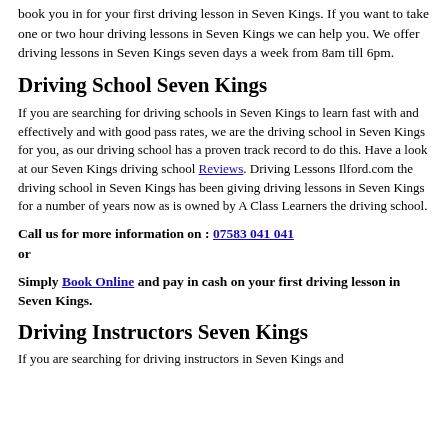book you in for your first driving lesson in Seven Kings. If you want to take one or two hour driving lessons in Seven Kings we can help you. We offer driving lessons in Seven Kings seven days a week from 8am till 6pm.
Driving School Seven Kings
If you are searching for driving schools in Seven Kings to learn fast with and effectively and with good pass rates, we are the driving school in Seven Kings for you, as our driving school has a proven track record to do this. Have a look at our Seven Kings driving school Reviews. Driving Lessons Ilford.com the driving school in Seven Kings has been giving driving lessons in Seven Kings for a number of years now as is owned by A Class Learners the driving school.
Call us for more information on : 07583 041 041
or
Simply Book Online and pay in cash on your first driving lesson in Seven Kings.
Driving Instructors Seven Kings
If you are searching for driving instructors in Seven Kings and